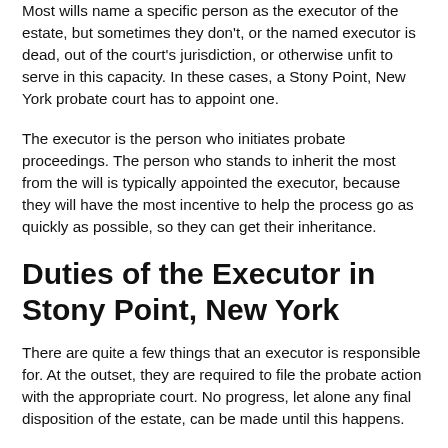Most wills name a specific person as the executor of the estate, but sometimes they don't, or the named executor is dead, out of the court's jurisdiction, or otherwise unfit to serve in this capacity. In these cases, a Stony Point, New York probate court has to appoint one.
The executor is the person who initiates probate proceedings. The person who stands to inherit the most from the will is typically appointed the executor, because they will have the most incentive to help the process go as quickly as possible, so they can get their inheritance.
Duties of the Executor in Stony Point, New York
There are quite a few things that an executor is responsible for. At the outset, they are required to file the probate action with the appropriate court. No progress, let alone any final disposition of the estate, can be made until this happens.